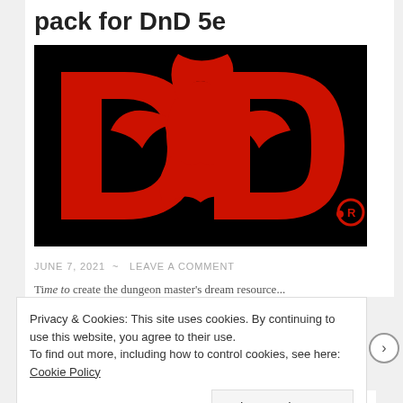pack for DnD 5e
[Figure (logo): Dungeons & Dragons logo: red D&D ampersand dragon design on black background with registered trademark symbol]
JUNE 7, 2021 ~ LEAVE A COMMENT
Ti...
Privacy & Cookies: This site uses cookies. By continuing to use this website, you agree to their use.
To find out more, including how to control cookies, see here: Cookie Policy
Close and accept